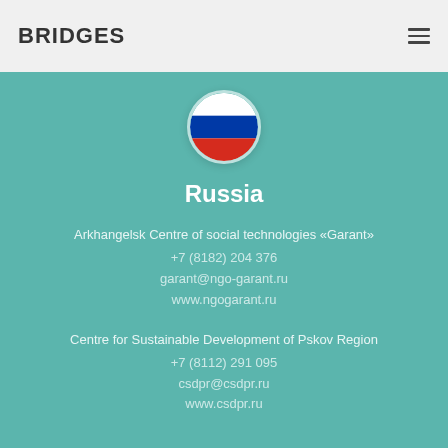BRIDGES
[Figure (illustration): Circular Russian flag icon]
Russia
Arkhangelsk Centre of social technologies «Garant»
+7 (8182) 204 376
garant@ngo-garant.ru
www.ngogarant.ru
Centre for Sustainable Development of Pskov Region
+7 (8112) 291 095
csdpr@csdpr.ru
www.csdpr.ru